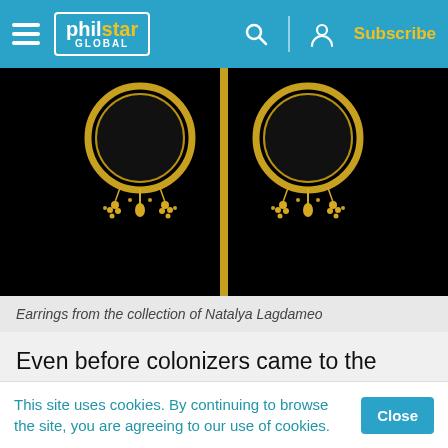philstar GLOBAL — Subscribe
[Figure (photo): Close-up photo of two ornate gold earrings with elaborate filigree and hanging bead clusters, set against a black background, separated by a vertical gold divider]
Earrings from the collection of Natalya Lagdameo
Even before colonizers came to the Philippines, Filipino tribes have been using elaborate beadwork in their accessories and clothes.
This site uses cookies. By continuing to browse the site, you are agreeing to our use of cookies.